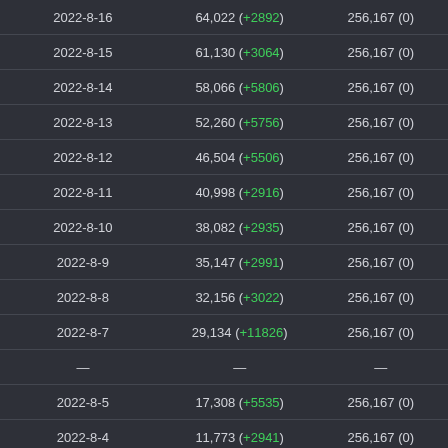| Date | Confirmed | Recovered |
| --- | --- | --- |
| 2022-8-16 | 64,022 (+2892) | 256,167 (0) |
| 2022-8-15 | 61,130 (+3064) | 256,167 (0) |
| 2022-8-14 | 58,066 (+5806) | 256,167 (0) |
| 2022-8-13 | 52,260 (+5756) | 256,167 (0) |
| 2022-8-12 | 46,504 (+5506) | 256,167 (0) |
| 2022-8-11 | 40,998 (+2916) | 256,167 (0) |
| 2022-8-10 | 38,082 (+2935) | 256,167 (0) |
| 2022-8-9 | 35,147 (+2991) | 256,167 (0) |
| 2022-8-8 | 32,156 (+3022) | 256,167 (0) |
| 2022-8-7 | 29,134 (+11826) | 256,167 (0) |
| — | — | — |
| 2022-8-5 | 17,308 (+5535) | 256,167 (0) |
| 2022-8-4 | 11,773 (+2941) | 256,167 (0) |